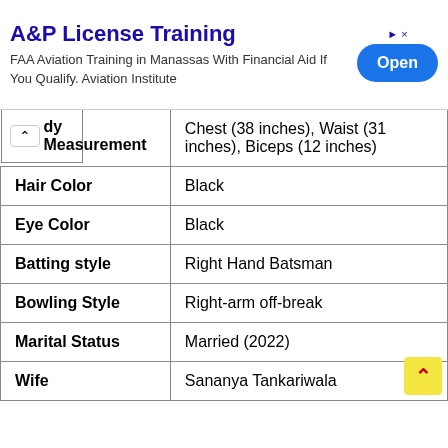[Figure (screenshot): Advertisement banner for A&P License Training - FAA Aviation Training in Manassas With Financial Aid If You Qualify. Aviation Institute. With an 'Open' button.]
| Body Measurement | Chest (38 inches), Waist (31 inches), Biceps (12 inches) |
| Hair Color | Black |
| Eye Color | Black |
| Batting style | Right Hand Batsman |
| Bowling Style | Right-arm off-break |
| Marital Status | Married (2022) |
| Wife | Sananya Tankariwala |